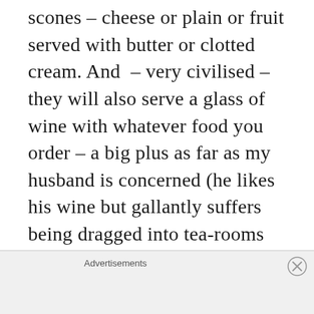scones – cheese or plain or fruit served with butter or clotted cream. And – very civilised – they will also serve a glass of wine with whatever food you order – a big plus as far as my husband is concerned (he likes his wine but gallantly suffers being dragged into tea-rooms up and down the country.Very rarely do they serve alcohol.) Soups and filled rolls (sandwiches) are the order of the day.The shop stocks some basics and a good beer selection.Frozen bread, pickles and the like.They'll order a box of groceries in
Advertisements